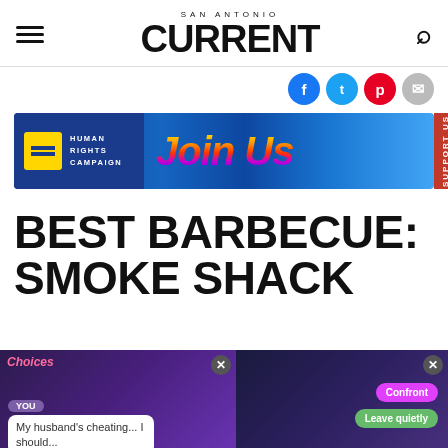SAN ANTONIO CURRENT
[Figure (screenshot): Social media share buttons: Facebook (blue), Twitter (light blue), Pinterest (red), Email (grey)]
[Figure (infographic): Human Rights Campaign advertisement banner with 'Join Us' text in colorful gradient lettering on blue background]
BEST BARBECUE: SMOKE SHACK
[Figure (screenshot): Mobile game advertisement showing anime-style characters with text 'My husband's cheating... I should...' and buttons 'Confront' and 'Leave quietly']